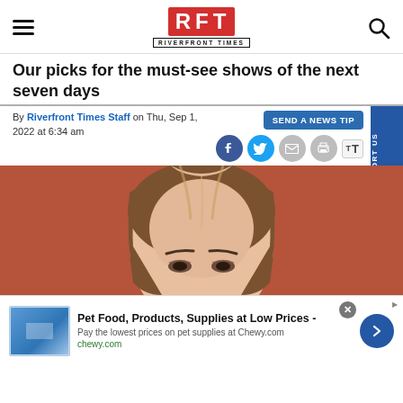RFT RIVERFRONT TIMES
Our picks for the must-see shows of the next seven days
By Riverfront Times Staff on Thu, Sep 1, 2022 at 6:34 am
SEND A NEWS TIP
[Figure (photo): Close-up photo of a young woman with brown hair against a reddish-brown background, showing mainly forehead and eyes]
Pet Food, Products, Supplies at Low Prices - Pay the lowest prices on pet supplies at Chewy.com chewy.com